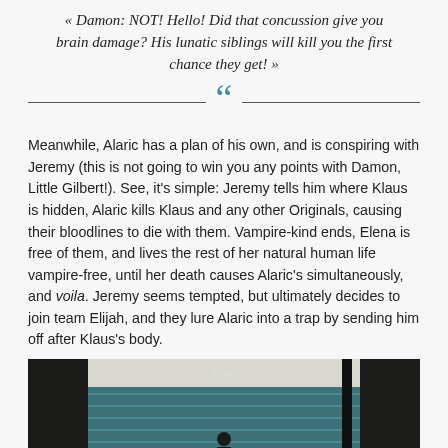« Damon: NOT! Hello! Did that concussion give you brain damage? His lunatic siblings will kill you the first chance they get! »
[Figure (illustration): Decorative divider with large teal open-quote marks flanked by horizontal lines]
Meanwhile, Alaric has a plan of his own, and is conspiring with Jeremy (this is not going to win you any points with Damon, Little Gilbert!). See, it's simple: Jeremy tells him where Klaus is hidden, Alaric kills Klaus and any other Originals, causing their bloodlines to die with them. Vampire-kind ends, Elena is free of them, and lives the rest of her natural human life vampire-free, until her death causes Alaric's simultaneously, and voila. Jeremy seems tempted, but ultimately decides to join team Elijah, and they lure Alaric into a trap by sending him off after Klaus's body.
[Figure (photo): A person in dark clothing standing in front of a teal-colored storage facility door, numbered 1046. Dark sections flank the left and right sides of the image.]